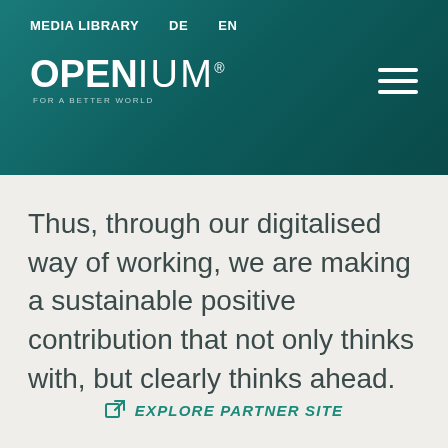MEDIA LIBRARY   DE   EN
[Figure (logo): OPENIUM logo with tagline FOR A BETTER WORLD on teal gradient header background, with hamburger menu icon on the right]
Thus, through our digitalised way of working, we are making a sustainable positive contribution that not only thinks with, but clearly thinks ahead.
EXPLORE PARTNER SITE